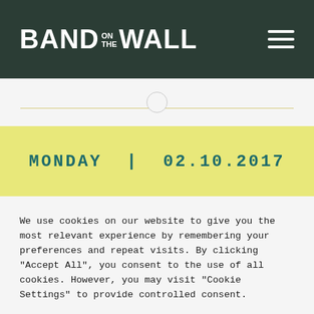BAND ON THE WALL
MONDAY | 02.10.2017
We use cookies on our website to give you the most relevant experience by remembering your preferences and repeat visits. By clicking "Accept All", you consent to the use of all cookies. However, you may visit "Cookie Settings" to provide controlled consent.
Cookie Settings | Accept All